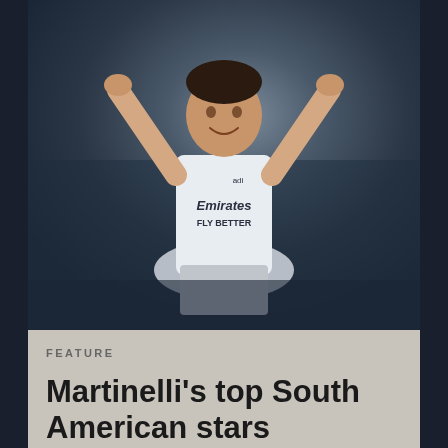[Figure (photo): Arsenal footballer (Gabriel Martinelli) in white Emirates FLY BETTER kit with arms raised above head, celebrating, dark blurred background]
FEATURE
Martinelli's top South American stars
[Figure (logo): Sponsor logos section: adidas logo (three stripes), Emirates logo (gold crest on grey box), VISIT RWANDA text logo]
[Figure (logo): MY ARSENAL partial logo and Baller partial logo at bottom]